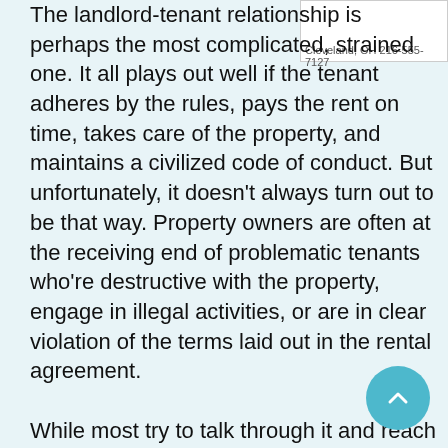The landlord-tenant relationship is perhaps the most complicated, strained one. It all plays out well if the tenant adheres by the rules, pays the rent on time, takes care of the property, and maintains a civilized code of conduct. But unfortunately, it doesn't always turn out to be that way. Property owners are often at the receiving end of problematic tenants who're destructive with the property, engage in illegal activities, or are in clear violation of the terms laid out in the rental agreement.

While most try to talk through it and reach an amiable recourse, when all else fails, an eviction is the only option left. It might be a bitter experience for both parties, with the